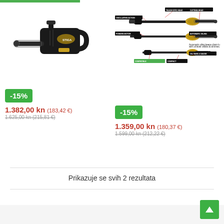[Figure (photo): Black cordless chainsaw product photo on white background]
-15%
1.382,00 kn (183,42 €)
1.625,00 kn (215,81 €) [strikethrough]
[Figure (engineering-diagram): Pole saw / pruner product diagram with labeled parts including telescopic head, oscillating action, automatic oiling, compact design, and other features]
-15%
1.359,00 kn (180,37 €)
1.599,00 kn (212,22 €) [strikethrough]
Prikazuje se svih 2 rezultata